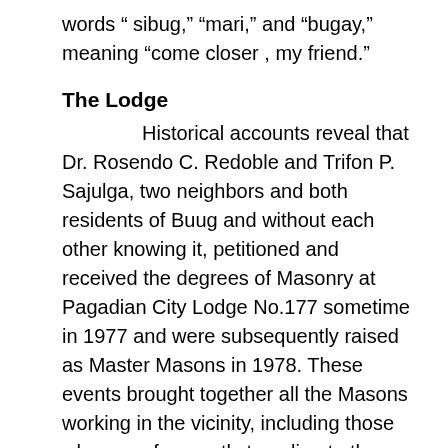words “ sibug,” “mari,” and “bugay,” meaning “come closer , my friend.”
The Lodge
Historical accounts reveal that Dr. Rosendo C. Redoble and Trifon P. Sajulga, two neighbors and both residents of Buug and without each other knowing it, petitioned and received the degrees of Masonry at Pagadian City Lodge No.177 sometime in 1977 and were subsequently raised as Master Masons in 1978. These events brought together all the Masons working in the vicinity, including those who were frequently traveling to the town. Eventually the entry of the two into Masonry gave birth to a move to form a new lodge at the town of Buug.
With the endorsement of the brethren of Pagadian City Lodge No. 177, thirty-one brethren petitioned the Grand Master for a dispensation to organize a lodge in Buug to be named Sibuguey